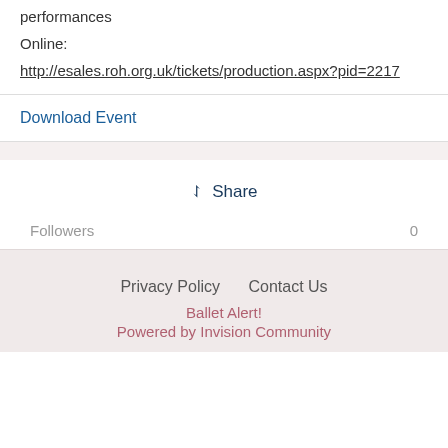performances
Online:
http://esales.roh.org.uk/tickets/production.aspx?pid=2217
Download Event
Share
Followers 0
Privacy Policy   Contact Us
Ballet Alert!
Powered by Invision Community